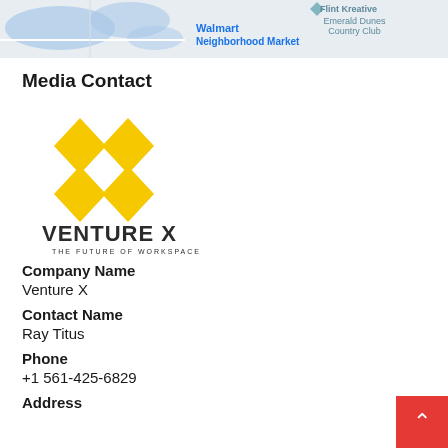[Figure (map): Partial map screenshot showing Walmart Neighborhood Market label in blue and Flint Kreative / Emerald Dunes Country Club label in teal, with blue water shapes on the left]
Media Contact
[Figure (logo): Venture X logo: four yellow diamonds arranged in an X pattern above bold dark text reading VENTURE X with tagline THE FUTURE OF WORKSPACE]
Company Name
Venture X
Contact Name
Ray Titus
Phone
+1 561-425-6829
Address